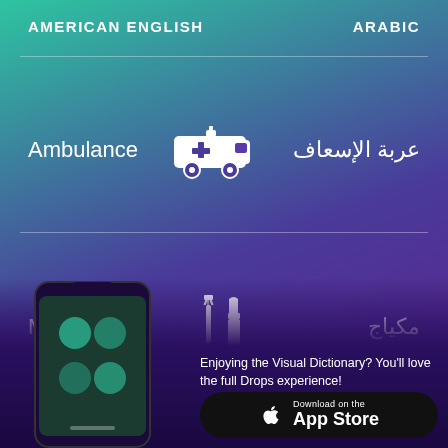AMERICAN ENGLISH
ARABIC
Ambulance
[Figure (illustration): White ambulance van icon with a cross symbol]
عربة الإسعاف
Makeup
[Figure (illustration): White mascara wand and lipstick icons]
مكياج
[Figure (screenshot): Smartphone showing the Drops language learning app interface]
Enjoying the Visual Dictionary? You'll love the full Drops experience!
Download on the App Store